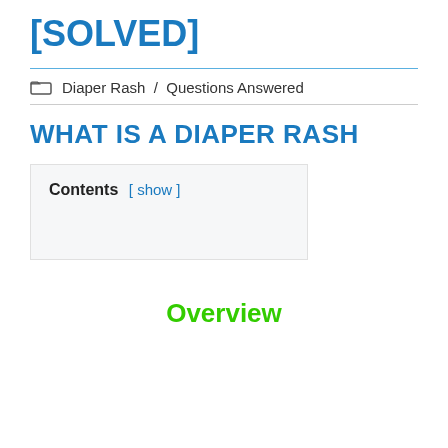[SOLVED]
Diaper Rash / Questions Answered
WHAT IS A DIAPER RASH
Contents [ show ]
Overview